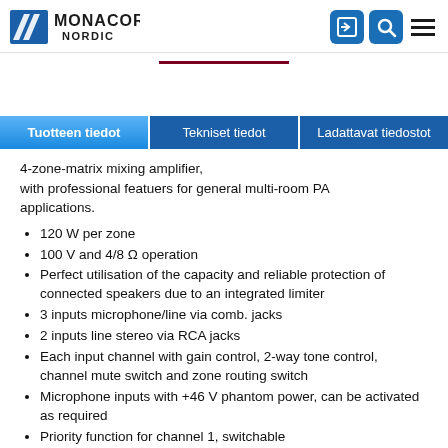MONACOR NORDIC — navigation header with logo and icons
4-zone-matrix mixing amplifier, with professional featuers for general multi-room PA applications.
120 W per zone
100 V and 4/8 Ω operation
Perfect utilisation of the capacity and reliable protection of connected speakers due to an integrated limiter
3 inputs microphone/line via comb. jacks
2 inputs line stereo via RCA jacks
Each input channel with gain control, 2-way tone control, channel mute switch and zone routing switch
Microphone inputs with +46 V phantom power, can be activated as required
Priority function for channel 1, switchable